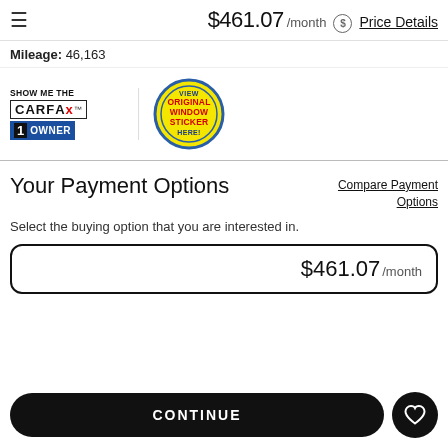$461.07 /month Price Details
Mileage: 46,163
[Figure (logo): SHOW ME THE CARFAX 1 OWNER badge logo]
[Figure (logo): View Original Window Sticker Here! circular yellow badge]
Your Payment Options
Compare Payment Options
Select the buying option that you are interested in.
$461.07 /month
CONTINUE